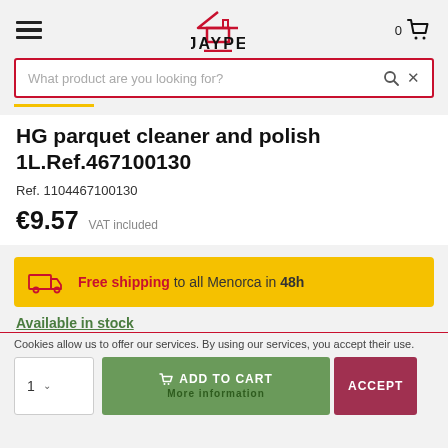[Figure (logo): JAYPE logo with house icon above and red underline below]
What product are you looking for?
HG parquet cleaner and polish 1L.Ref.467100130
Ref. 1104467100130
€9.57  VAT included
Free shipping to all Menorca in 48h
Available in stock
Cookies allow us to offer our services. By using our services, you accept their use.
1  ADD TO CART  More information  ACCEPT